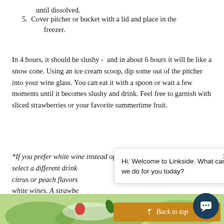until dissolved.
5. Cover pitcher or bucket with a lid and place in the freezer.
In 4 hours, it should be slushy -  and in about 6 hours it will be like a snow cone. Using an ice cream scoop, dip some out of the pitcher into your wine glass. You can eat it with a spoon or wait a few moments until it becomes slushy and drink. Feel free to garnish with sliced strawberries or your favorite summertime fruit.
*If you prefer white wine instead of red, you'll want to select a different drink ... citrus or peach flavors ... white wines. A strawbe... well. Feel free to exper... blends you like the best!
[Figure (screenshot): Chat widget overlay showing 'Hi. Welcome to Linkside. What can we do for you today?' with a close button, a gold 'Back to top' button, and a dark blue circular chat icon.]
[Figure (photo): Bottom portion of a food/drink photo showing green herbs or leaves and a strawberry on a plate, with blurred green background.]